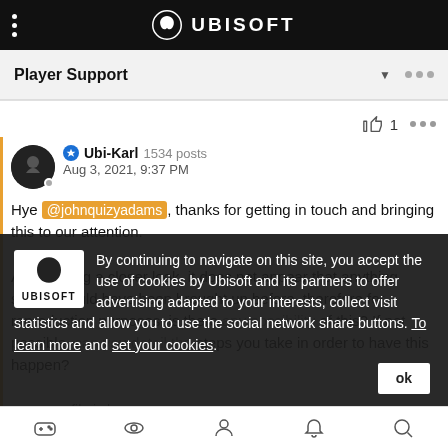UBISOFT
Player Support
👍 1
Ubi-Karl 1534 posts
Aug 3, 2021, 9:37 PM
Hye @johnquizyadams, thanks for getting in touch and bringing this to our attention.

After having a closer look, it does not appear that anything similar would have been brought up before, therefore for reproduction purposes, is there any possibility of this? If not possible, can you detail the steps you take in order to have this happen?

The save file is by default located in %userprofile%\Documents\Anno 1800\a...
By continuing to navigate on this site, you accept the use of cookies by Ubisoft and its partners to offer advertising adapted to your interests, collect visit statistics and allow you to use the social network share buttons. To learn more and set your cookies.